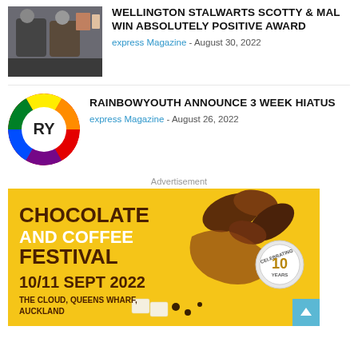[Figure (photo): Two men posing together smiling in front of artwork on a wall]
WELLINGTON STALWARTS SCOTTY & MAL WIN ABSOLUTELY POSITIVE AWARD
express Magazine - August 30, 2022
[Figure (logo): RainbowYOUTH circular logo with RY in white letters on rainbow gradient background]
RAINBOWYOUTH ANNOUNCE 3 WEEK HIATUS
express Magazine - August 26, 2022
Advertisement
[Figure (photo): Chocolate and Coffee Festival advertisement banner. Yellow background with chocolate coffee beans and text: CHOCOLATE AND COFFEE FESTIVAL, 10/11 SEPT 2022, THE CLOUD, QUEENS WHARF, AUCKLAND. Celebrating years badge.]